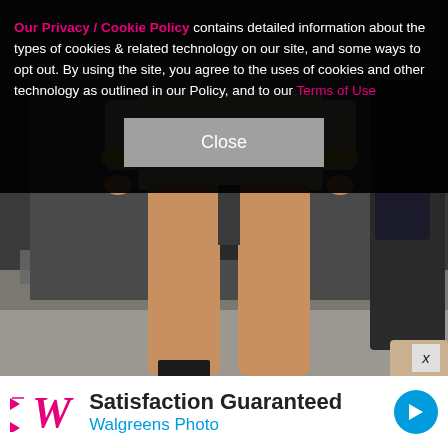Our Privacy / Cookie Policy contains detailed information about the types of cookies & related technology on our site, and some ways to opt out. By using the site, you agree to the uses of cookies and other technology as outlined in our Policy, and to our Terms of Use
[Figure (photo): A woman in a grey houndstooth blazer-dress and gold bracelets walking, showing her legs. A person in dark clothes is visible to the right side.]
[Figure (infographic): Walgreens Photo advertisement bar. Logo with stylized W, text 'Satisfaction Guaranteed' and 'Walgreens Photo', blue circular arrow icon.]